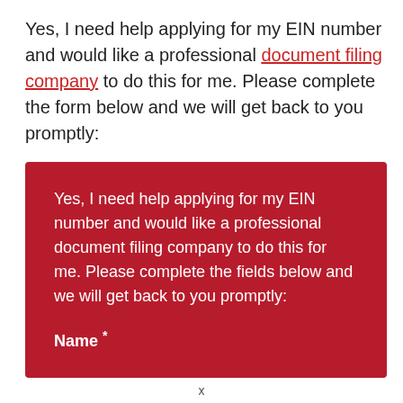Yes, I need help applying for my EIN number and would like a professional document filing company to do this for me. Please complete the form below and we will get back to you promptly:
Yes, I need help applying for my EIN number and would like a professional document filing company to do this for me. Please complete the fields below and we will get back to you promptly:

Name *